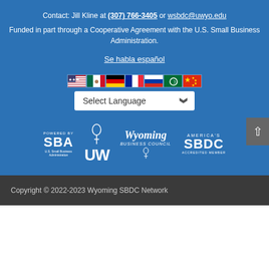Contact: Jill Kline at (307) 766-3405 or wsbdc@uwyo.edu
Funded in part through a Cooperative Agreement with the U.S. Small Business Administration.
Se habla español
[Figure (other): Language selector widget with national flags (USA, Mexico, Germany, France, Russia, Arabic, China) and a 'Select Language' dropdown]
[Figure (logo): Footer logos: SBA (Powered by), UW (University of Wyoming), Wyoming Business Council, America's SBDC Accredited Member]
Copyright © 2022-2023 Wyoming SBDC Network